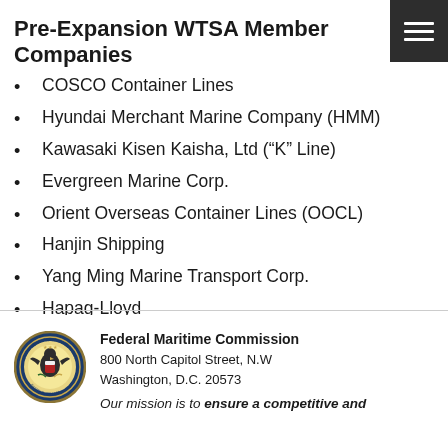Pre-Expansion WTSA Member Companies
COSCO Container Lines
Hyundai Merchant Marine Company (HMM)
Kawasaki Kisen Kaisha, Ltd (“K” Line)
Evergreen Marine Corp.
Orient Overseas Container Lines (OOCL)
Hanjin Shipping
Yang Ming Marine Transport Corp.
Hapag-Lloyd
Federal Maritime Commission
800 North Capitol Street, N.W
Washington, D.C. 20573
Our mission is to ensure a competitive and